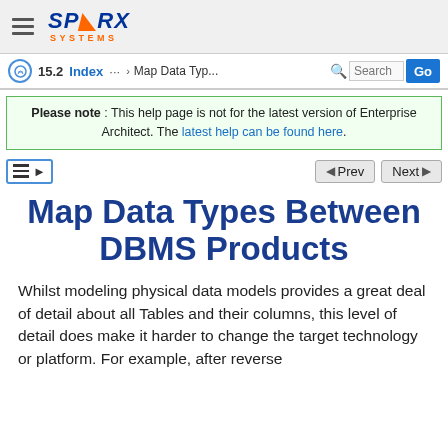[Figure (logo): Sparx Systems logo with hamburger menu icon]
15.2  Index  ...  Map Data Typ...  Search  Go
Please note : This help page is not for the latest version of Enterprise Architect. The latest help can be found here.
TOC Prev Next
Map Data Types Between DBMS Products
Whilst modeling physical data models provides a great deal of detail about all Tables and their columns, this level of detail does make it harder to change the target technology or platform. For example, after reverse